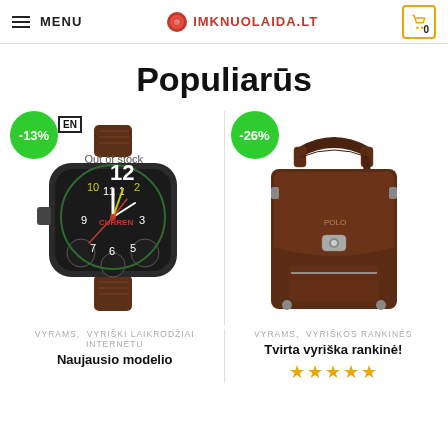MENU | IMKNUOLAIDA.LT | 0
Populiarūs
[Figure (photo): Men's wristwatch with dark dial, brown leather strap, Out of stock label, -13% discount badge, EN tag]
VYRAMS, VYRIŠKI LAIKRODŽIAI INTERNETU
Naujausio modelio
[Figure (photo): Brown leather men's shoulder bag, -26% discount badge]
VYRAMS, VYRIŠKOS RANKINĖS
Tvirta vyriška rankinė!
[Figure (other): 4.5 star rating shown with yellow stars]